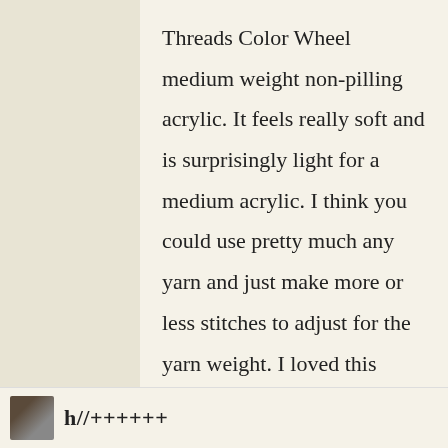Threads Color Wheel medium weight non-pilling acrylic. It feels really soft and is surprisingly light for a medium acrylic. I think you could use pretty much any yarn and just make more or less stitches to adjust for the yarn weight. I loved this because I really didn't need to count anything. I just needed to be careful to not miss any of the stitches and to remember to do the increase/decrease rows.
★ Like